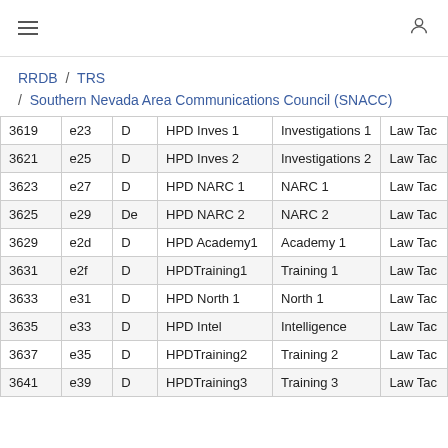≡  (user icon)
RRDB / TRS / Southern Nevada Area Communications Council (SNACC)
|  | e23 | D | HPD Inves 1 | Investigations 1 | Law Tac |
| --- | --- | --- | --- | --- | --- |
| 3619 | e23 | D | HPD Inves 1 | Investigations 1 | Law Tac |
| 3621 | e25 | D | HPD Inves 2 | Investigations 2 | Law Tac |
| 3623 | e27 | D | HPD NARC 1 | NARC 1 | Law Tac |
| 3625 | e29 | De | HPD NARC 2 | NARC 2 | Law Tac |
| 3629 | e2d | D | HPD Academy1 | Academy 1 | Law Tac |
| 3631 | e2f | D | HPDTraining1 | Training 1 | Law Tac |
| 3633 | e31 | D | HPD North 1 | North 1 | Law Tac |
| 3635 | e33 | D | HPD Intel | Intelligence | Law Tac |
| 3637 | e35 | D | HPDTraining2 | Training 2 | Law Tac |
| 3641 | e39 | D | HPDTraining3 | Training 3 | Law Tac |